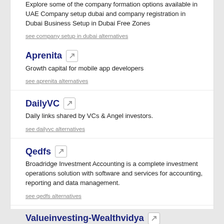Explore some of the company formation options available in UAE Company setup dubai and company registration in Dubai Business Setup in Dubai Free Zones
see company setup in dubai alternatives
Aprenita
Growth capital for mobile app developers
see aprenita alternatives
DailyVC
Daily links shared by VCs & Angel investors.
see dailyvc alternatives
Qedfs
Broadridge Investment Accounting is a complete investment operations solution with software and services for accounting, reporting and data management.
see qedfs alternatives
Valueinvesting-Wealthvidya
A blog place for learning Value Investing taught by Benjamin Graham and successfully practiced by Warren Buffett with focus on India and Indian stocks
see valueinvesting-wealthvidya alternatives